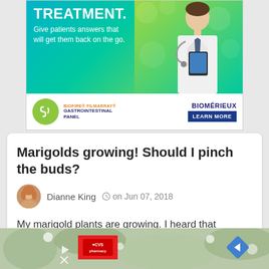[Figure (photo): Advertisement banner for bioMérieux BioFire FilmArray Gastrointestinal Panel. Top half shows green/teal gradient background with doctor in white coat holding tablet. Text reads 'TREATMENT. Give patients answers that will get them back on the go.' Bottom shows green circle logo, 'BIOFIRE® FILMARRAY® GASTROINTESTINAL PANEL', bioMérieux logo, and 'LEARN MORE' button.]
Marigolds growing! Should I pinch the buds?
Dianne King   on Jun 07, 2018
My marigold plants are growing. I heard that pinching the buds until Autumn will allow them to grow without killing the plant. Is this true?
[Figure (photo): Bottom strip showing partial marigold/plant photo with CVS pharmacy advertisement overlay and navigation diamond icon.]